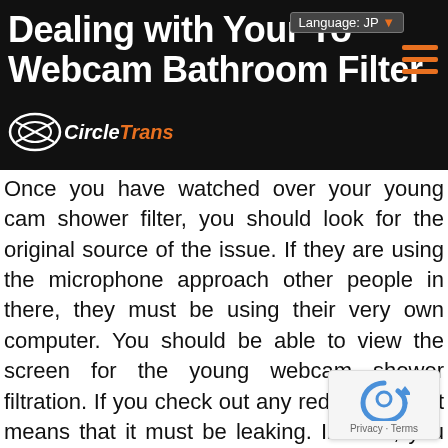Dealing with Your Youthful Webcam Bathroom Filter
Once you have watched over your young cam shower filter, you should look for the original source of the issue. If they are using the microphone approach other people in there, they must be using their very own computer. You should be able to view the screen for the young webcam shower filtration. If you check out any red in this, that means that it must be leaking. In fact , you can merely open the screen and give this a good cleaning if you really have to.
[Figure (logo): reCAPTCHA badge with circular arrow icon and Privacy - Terms text]